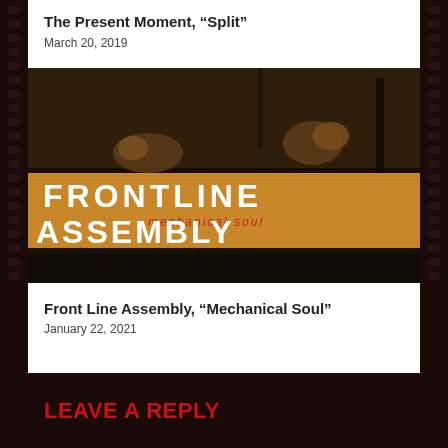The Present Moment, “Split”
March 20, 2019
[Figure (photo): Album art for Front Line Assembly ‘Mechanical Soul’ — dark, post-apocalyptic scene with large text FRONTLINE ASSEMBLY and subtitle mechanical soul on a golden-brown textured banner. Background shows debris, snail-like creatures and dystopian landscape.]
Front Line Assembly, “Mechanical Soul”
January 22, 2021
LEAVE A REPLY